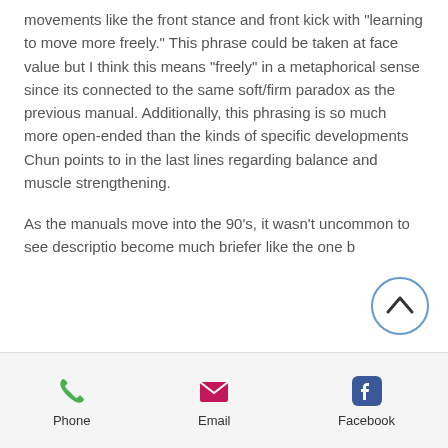movements like the front stance and front kick with "learning to move more freely." This phrase could be taken at face value but I think this means "freely" in a metaphorical sense since its connected to the same soft/firm paradox as the previous manual. Additionally, this phrasing is so much more open-ended than the kinds of specific developments Chun points to in the last lines regarding balance and muscle strengthening.
As the manuals move into the 90's, it wasn't uncommon to see descriptions become much briefer like the one b...
[Figure (other): Back-to-top circular button with upward chevron arrow, blue outline circle]
[Figure (infographic): Bottom navigation bar with Phone (green phone icon), Email (magenta envelope icon), Facebook (blue Facebook icon) links]